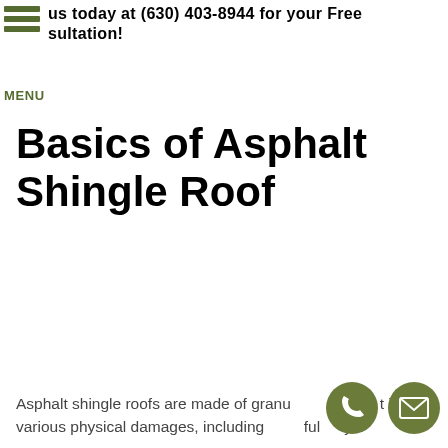us today at (630) 403-8944 for your Free Consultation!
Basics of Asphalt Shingle Roof
Asphalt shingle roofs are made of granu... at r...t it from various physical damages, including ...ful ...ys.